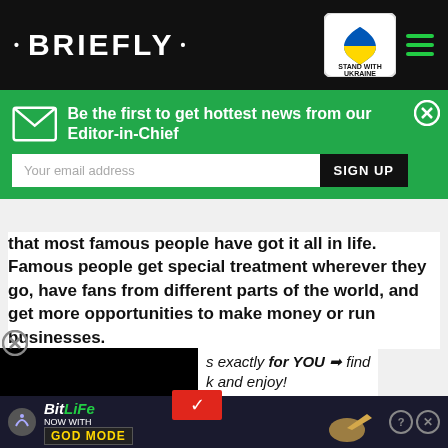• BRIEFLY •
Be the first to get hottest news from our Editor-in-Chief
that most famous people have got it all in life. Famous people get special treatment wherever they go, have fans from different parts of the world, and get more opportunities to make money or run businesses.
s exactly for YOU ➡ find k and enjoy!
[Figure (screenshot): Video player black screen with red play/next button]
[Figure (screenshot): Billboard Awards photo of Taylor Swift with SEE HER text and CW logo]
[Figure (screenshot): BitLife advertisement banner - NOW WITH GOD MODE]